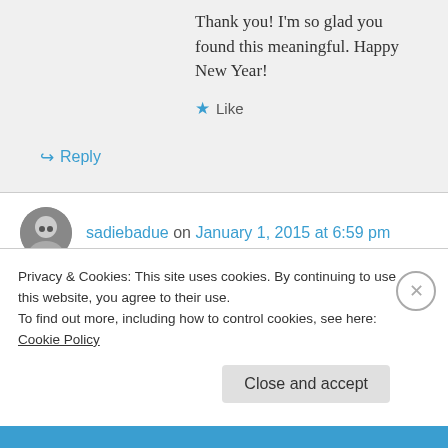Thank you! I'm so glad you found this meaningful. Happy New Year!
★ Like
↪ Reply
sadiebadue on January 1, 2015 at 6:59 pm
Reblogged this on sadiebadue's Blog.
★ Liked by 1 person
↪ Reply
Privacy & Cookies: This site uses cookies. By continuing to use this website, you agree to their use.
To find out more, including how to control cookies, see here: Cookie Policy
Close and accept